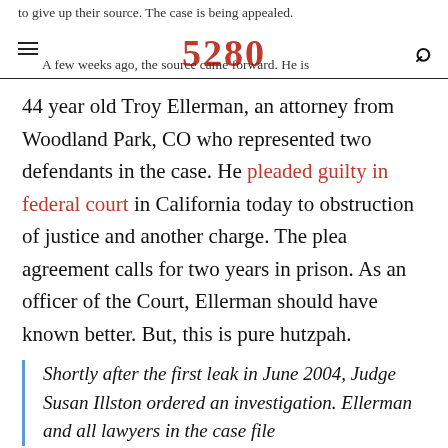to give up their source. The case is being appealed. 5280 A few weeks ago, the source came forward. He is
44 year old Troy Ellerman, an attorney from Woodland Park, CO who represented two defendants in the case. He pleaded guilty in federal court in California today to obstruction of justice and another charge. The plea agreement calls for two years in prison. As an officer of the Court, Ellerman should have known better. But, this is pure hutzpah.
Shortly after the first leak in June 2004, Judge Susan Illston ordered an investigation. Ellerman and all lawyers in the case filed statements under penalty of